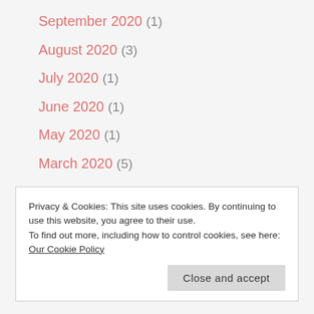September 2020 (1)
August 2020 (3)
July 2020 (1)
June 2020 (1)
May 2020 (1)
March 2020 (5)
February 2020 (1)
January 2020 (6)
Privacy & Cookies: This site uses cookies. By continuing to use this website, you agree to their use.
To find out more, including how to control cookies, see here:
Our Cookie Policy
Close and accept